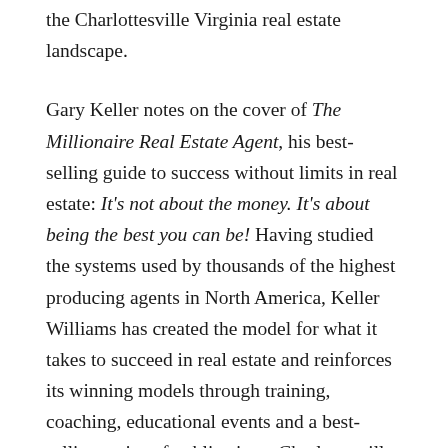the Charlottesville Virginia real estate landscape.
Gary Keller notes on the cover of The Millionaire Real Estate Agent, his best-selling guide to success without limits in real estate: It's not about the money. It's about being the best you can be! Having studied the systems used by thousands of the highest producing agents in North America, Keller Williams has created the model for what it takes to succeed in real estate and reinforces its winning models through training, coaching, educational events and a best-selling series of publications. Charlottesville VA Keller Williams Real Estate